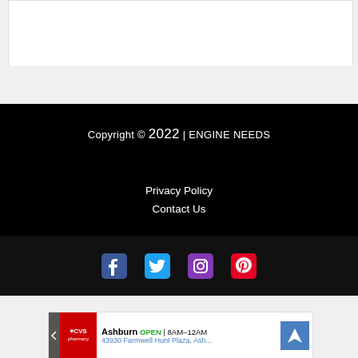[Figure (other): White content box area at top of page]
Copyright © 2022 | ENGINE NEEDS
Privacy Policy
Contact Us
[Figure (other): Social media icons: Facebook, Twitter, Instagram, Pinterest]
[Figure (other): CVS Pharmacy advertisement banner: Ashburn OPEN 8AM–12AM, 43930 Farmwell Hunt Plaza, Ash...]